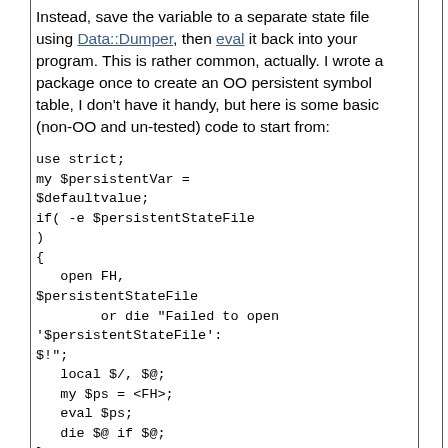Instead, save the variable to a separate state file using Data::Dumper, then eval it back into your program. This is rather common, actually. I wrote a package once to create an OO persistent symbol table, I don't have it handy, but here is some basic (non-OO and un-tested) code to start from:
use strict;
my $persistentVar =
$defaultvalue;
if( -e $persistentStateFile
)
{
   open FH,
$persistentStateFile
        or die "Failed to open
'$persistentStateFile':
$!";
   local $/, $@;
   my $ps = <FH>;
   eval $ps;
   die $@ if $@;
}